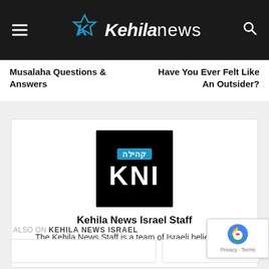Kehila News
Musalaha Questions & Answers
Have You Ever Felt Like An Outsider?
[Figure (logo): KNI logo — black square with blue Hebrew badge and white KNI text]
Kehila News Israel Staff
The Kehila News Staff is a team of Israeli believers in Yeshua.
ALSO ON KEHILA NEWS ISRAEL